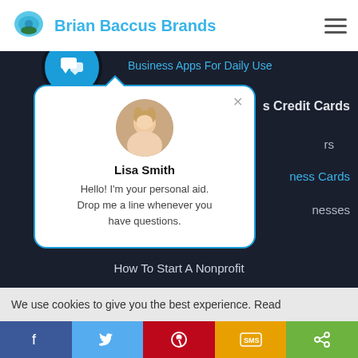Brian Baccus Brands
Business Apps For Daily Use
[Figure (screenshot): Live chat popup with avatar of Lisa Smith]
Lisa Smith
Hello! I'm your personal aid. Drop me a line whenever you have questions.
s Credit Cards
rs
ness Cards
nesses
Business Credit Tips
How To Start A Nonprofit
We use cookies to give you the best experience. Read
[Figure (infographic): Social share bar with Facebook, Twitter, Pinterest, SMS, and Share icons]